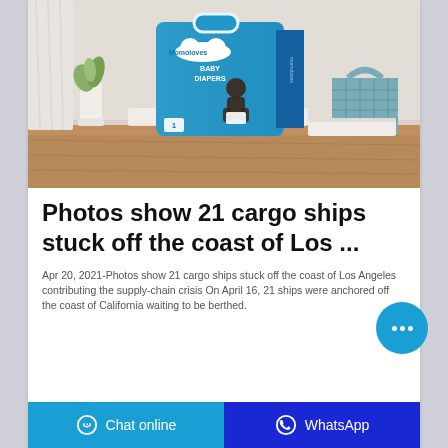[Figure (photo): Product photo of Momoloves Baby Diapers package on a wooden floor with room background including curtain, white vase with plant, and teal basket]
Photos show 21 cargo ships stuck off the coast of Los ...
Apr 20, 2021-Photos show 21 cargo ships stuck off the coast of Los Angeles contributing the supply-chain crisis On April 16, 21 ships were anchored off the coast of California waiting to be berthed.
Chat online   WhatsApp